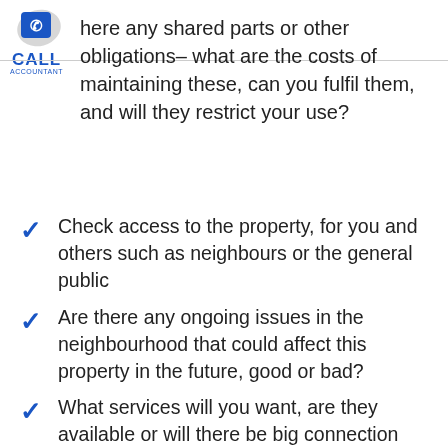[Figure (logo): Call Accountant logo with phone icon and blue text]
here any shared parts or other obligations– what are the costs of maintaining these, can you fulfil them, and will they restrict your use?
Check access to the property, for you and others such as neighbours or the general public
Are there any ongoing issues in the neighbourhood that could affect this property in the future, good or bad?
What services will you want, are they available or will there be big connection costs?